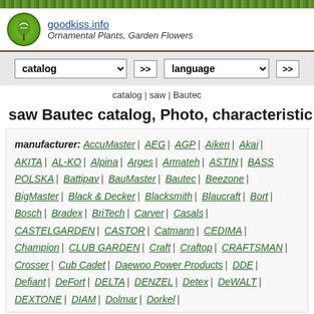goodkiss.info — Ornamental Plants, Garden Flowers
catalog >> | language >>
catalog | saw | Bautec
saw Bautec catalog, Photo, characteristics
manufacturer: AccuMaster | AEG | AGP | Aiken | Akai | AKITA | AL-KO | Alpina | Arges | Armateh | ASTIN | BASS POLSKA | Battipav | BauMaster | Bautec | Beezone | BigMaster | Black & Decker | Blacksmith | Blaucraft | Bort | Bosch | Bradex | BriTech | Carver | Casals | CASTELGARDEN | CASTOR | Catmann | CEDIMA | Champion | CLUB GARDEN | Craft | Craftop | CRAFTSMAN | Crosser | Cub Cadet | Daewoo Power Products | DDE | Defiant | DeFort | DELTA | DENZEL | Detex | DeWALT | DEXTONE | DIAM | Dolmar | Dorkel